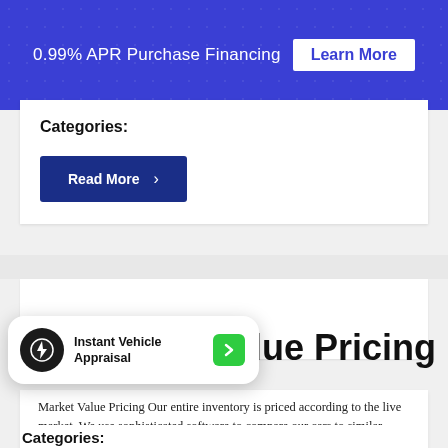0.99% APR Purchase Financing  Learn More
Categories:
Read More ›
Value Pricing
[Figure (infographic): Instant Vehicle Appraisal popup widget with lightning bolt icon and green arrow button]
Market Value Pricing Our entire inventory is priced according to the live market. We use sophisticated software to compare our cars to similar vehicles for sale, and set prices which offer you unmatched value. Prices are updated continuously as market conditions change. We also use Market Value Pricing to evaluate your trade, so you will [...]
Categories: